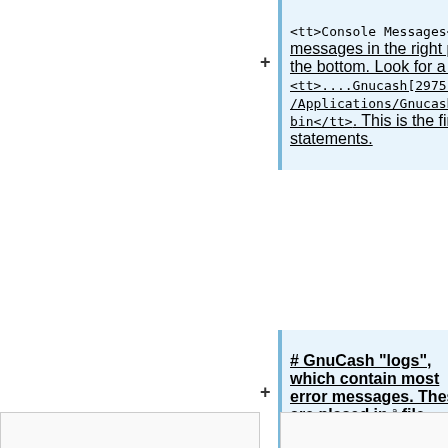<tt>Console Messages</tt> to view any console messages in the right pane of the window. Scroll to the bottom. Look for a message like <tt>....Gnucash[29751]. Application Path /Applications/Gnucash.app/Contents/MacOS/Gnucash-bin</tt>. This is the first of the GnuCash "terminal" statements.
# GnuCash "logs", which contain most error messages. These are placed in a file called <tt>gnucash.trace</tt>. See [[Tracefile]] for more information.